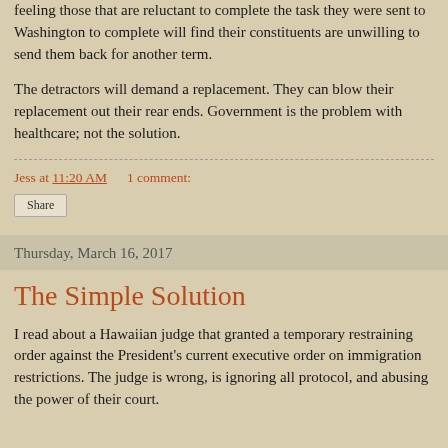feeling those that are reluctant to complete the task they were sent to Washington to complete will find their constituents are unwilling to send them back for another term.
The detractors will demand a replacement. They can blow their replacement out their rear ends. Government is the problem with healthcare; not the solution.
Jess at 11:20 AM    1 comment:
Share
Thursday, March 16, 2017
The Simple Solution
I read about a Hawaiian judge that granted a temporary restraining order against the President's current executive order on immigration restrictions. The judge is wrong, is ignoring all protocol, and abusing the power of their court.